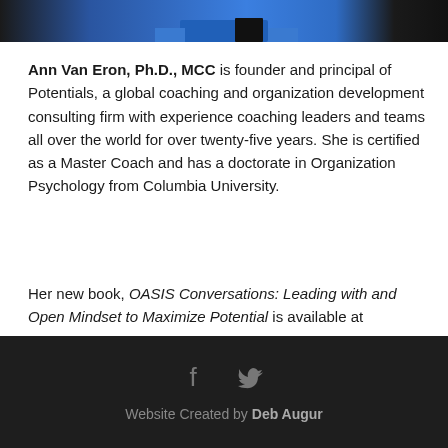[Figure (photo): Partial photo of Ann Van Eron showing blue jacket and dark tie/collar at top of page]
Ann Van Eron, Ph.D., MCC is founder and principal of Potentials, a global coaching and organization development consulting firm with experience coaching leaders and teams all over the world for over twenty-five years. She is certified as a Master Coach and has a doctorate in Organization Psychology from Columbia University.
Her new book, OASIS Conversations: Leading with and Open Mindset to Maximize Potential is available at AMAZON >>
Website Created by Deb Augur